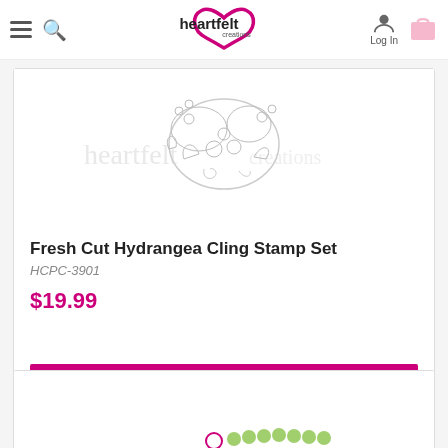Heartfelt Creations — navigation bar with hamburger menu, search, logo, Log In, and cart
[Figure (photo): Product image of Fresh Cut Hydrangea Cling Stamp Set showing floral stamp design with watermark text 'heartfelt creations']
Fresh Cut Hydrangea Cling Stamp Set
HCPC-3901
$19.99
ADD TO CART
[Figure (photo): Bottom of second product card partially visible]